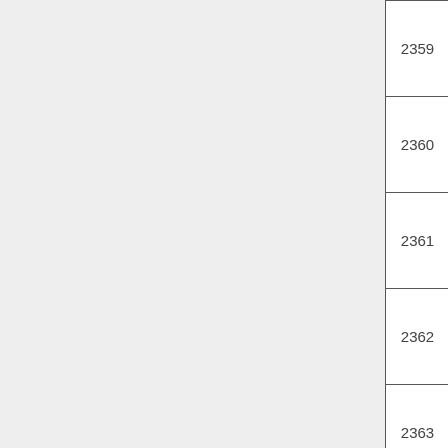| 2359 | Centered | In | C |
| 2360 | Centered | In | C |
| 2361 | Up 2 mm | In | C |
| 2362 | Up 2 mm | In | C |
| 2363 | Up 2 mm | In | C |